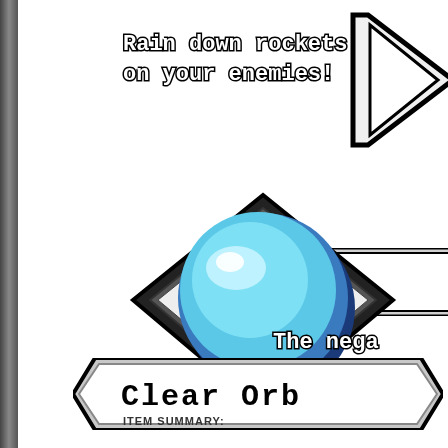Rain down rockets on your enemies!
[Figure (illustration): Pixel art blue orb (Clear Orb) inside a diamond/rhombus frame with black border. The orb is light blue with a white highlight and dark blue shadow, giving a 3D spherical appearance. The diamond frame has pointed corners.]
Clear Orb
Airs
The nega
ITEM SUMMARY: